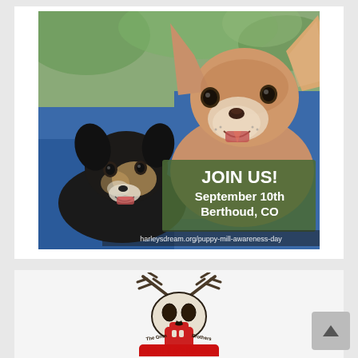[Figure (photo): Two Chihuahua dogs being held by a person in a blue jacket, photographed outdoors. A dark green semi-transparent text overlay in the lower right reads: 'JOIN US! September 10th Berthoud, CO' and below that 'harleysdream.org/puppy-mill-awareness-day'.]
[Figure (logo): The Grim Brothers logo: a deer skull / stag head illustration in black and red with antlers, with text 'The Grim Brothers' curved around it. The bottom is cut off.]